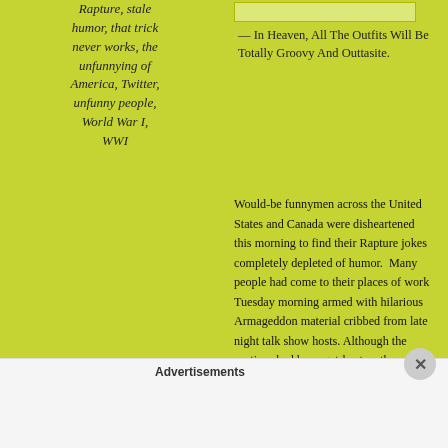Rapture, stale humor, that trick never works, the unfunnying of America, Twitter, unfunny people, World War I, WWI
— In Heaven, All The Outfits Will Be Totally Groovy And Outtasite.
Would-be funnymen across the United States and Canada were disheartened this morning to find their Rapture jokes completely depleted of humor. Many people had come to their places of work Tuesday morning armed with hilarious Armageddon material cribbed from late night talk show hosts. Although the routines had been gut-busters the previous week and still considered moderately-funny as recently as Monday night, the cold and sobering light of Tuesday's dawn shone revealed a tired and broken joke completely bereft of its zing.
Advertisements
[Figure (other): WordPress.com advertisement banner: Simplified pricing for everything you need.]